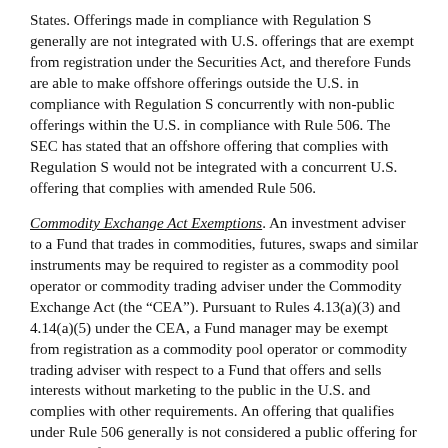States. Offerings made in compliance with Regulation S generally are not integrated with U.S. offerings that are exempt from registration under the Securities Act, and therefore Funds are able to make offshore offerings outside the U.S. in compliance with Regulation S concurrently with non-public offerings within the U.S. in compliance with Rule 506. The SEC has stated that an offshore offering that complies with Regulation S would not be integrated with a concurrent U.S. offering that complies with amended Rule 506.
Commodity Exchange Act Exemptions. An investment adviser to a Fund that trades in commodities, futures, swaps and similar instruments may be required to register as a commodity pool operator or commodity trading adviser under the Commodity Exchange Act (the “CEA”). Pursuant to Rules 4.13(a)(3) and 4.14(a)(5) under the CEA, a Fund manager may be exempt from registration as a commodity pool operator or commodity trading adviser with respect to a Fund that offers and sells interests without marketing to the public in the U.S. and complies with other requirements. An offering that qualifies under Rule 506 generally is not considered a public offering for purposes of this requirement. The Commodity Futures Trading Commission has not provided any guidance whether a Fund that engages in general solicitation or advertising in compliance with the amendment will be deemed to be marketing its interests to the public.